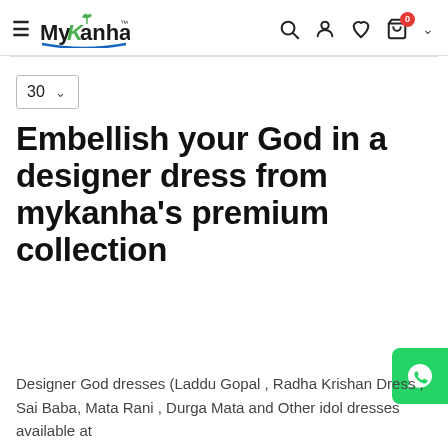MyKanha™ — navigation header with hamburger menu, logo, search, account, wishlist, cart (0), and chevron icons
30 ∨
Embellish your God in a designer dress from mykanha's premium collection
[Figure (logo): WhatsApp contact button (green rounded square with WhatsApp phone icon)]
Designer God dresses (Laddu Gopal , Radha Krishan Dress , Sai Baba, Mata Rani , Durga Mata and Other idol dresses available at